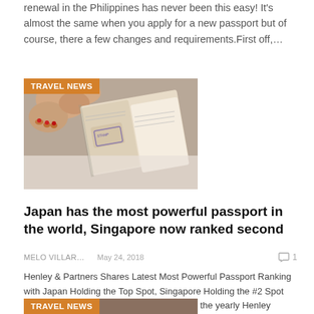renewal in the Philippines has never been this easy! It's almost the same when you apply for a new passport but of course, there a few changes and requirements.First off,…
[Figure (photo): Photo of feet and hands holding an open passport with stamps, on a light background. Orange 'TRAVEL NEWS' badge overlaid top-left.]
Japan has the most powerful passport in the world, Singapore now ranked second
MELO VILLAR…  May 24, 2018  [1 comment]
Henley & Partners Shares Latest Most Powerful Passport Ranking with Japan Holding the Top Spot, Singapore Holding the #2 Spot Henley & Partners, responsible for creating the yearly Henley Passport Index, rolls out the updated list…
[Figure (photo): Partial photo at bottom with orange 'TRAVEL NEWS' badge overlaid top-left, showing passport-related image cropped.]